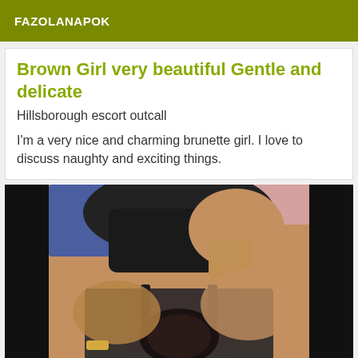FAZOLANAPOK
Brown Girl very beautiful Gentle and delicate
Hillsborough escort outcall
I'm a very nice and charming brunette girl. I love to discuss naughty and exciting things.
[Figure (photo): Close-up photo of a woman wearing a black sheer top with lace details, dark hair, brown skin, taken as a selfie-style shot]